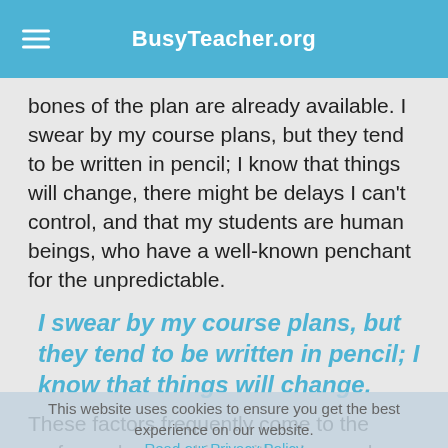BusyTeacher.org
bones of the plan are already available. I swear by my course plans, but they tend to be written in pencil; I know that things will change, there might be delays I can't control, and that my students are human beings, who have a well-known penchant for the unpredictable.
I swear by my course plans, but they tend to be written in pencil; I know that things will change.
These factors frequently come to the surface when working with advanced students. Planning advanced ESL courses takes imagination and patience, but above all flexibility, as you're catering for a potentially diverse and changing group who might have particular needs and preferences. I'd like to pass on some tips for building a successful course plan, one which will take